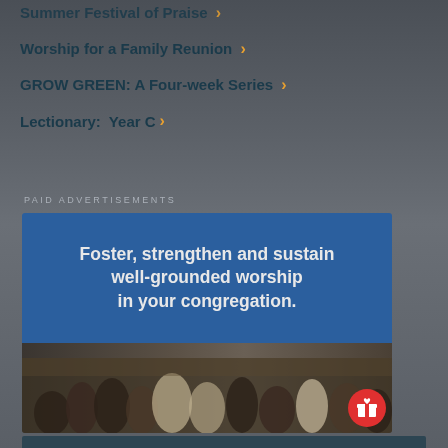Summer Festival of Praise ›
Worship for a Family Reunion ›
GROW GREEN: A Four-week Series ›
Lectionary:  Year C ›
PAID ADVERTISEMENTS
[Figure (illustration): Advertisement banner with blue background showing text 'Foster, strengthen and sustain well-grounded worship in your congregation.' with a crowd photo below and red gift button in bottom right corner.]